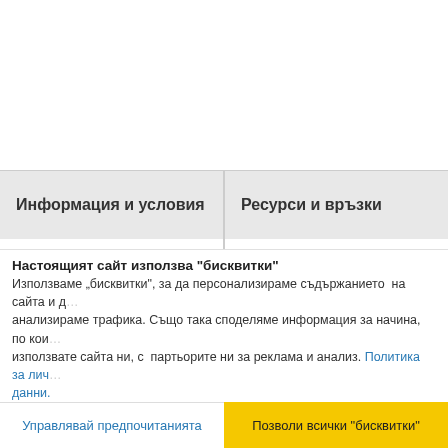Информация и условия
Ресурси и връзки
За нас
Контакти
Общи условия
Лични данни - политика
Декларация за поверителност
Карта на сайта
Всички категории
Нови продукти
Най-продавани стоки
Настоящият сайт използва "бисквитки"
Използваме „бисквитки", за да персонализираме съдържанието на сайта и да анализираме трафика. Също така споделяме информация за начина, по който използвате сайта ни, с партьорите ни за реклама и анализ. Политика за лични данни.
Управлявай предпочитанията
Позволи всички "бисквитки"